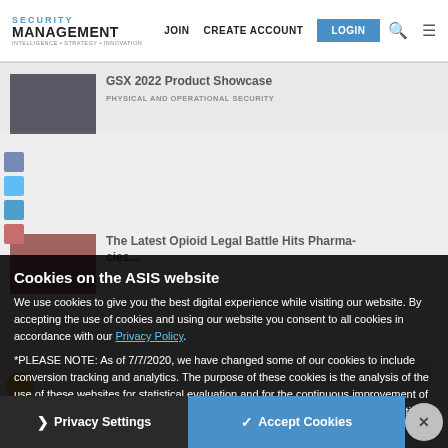SECURITY MANAGEMENT | JOIN | CREATE ACCOUNT | LOGIN
[Figure (screenshot): Background website content showing article thumbnails for 'GSX 2022 Product Showcase', 'The Latest Opioid Legal Battle Hits Pharmacies', and 'Ready, Stress, Go! Why...' partially visible behind cookie consent overlay]
Cookies on the ASIS website
We use cookies to give you the best digital experience while visiting our website. By accepting the use of cookies and using our website you consent to all cookies in accordance with our Privacy Policy.
*PLEASE NOTE: As of 7/7/2020, we have changed some of our cookies to include conversion tracking and analytics. The purpose of these cookies is the analysis of the use of these websites for statistical evaluation and for the continuous improvement of our offers and communication. Please see our Privacy Policy for more information.
❯ Privacy Settings    ✓ Accept Cookies    ✕